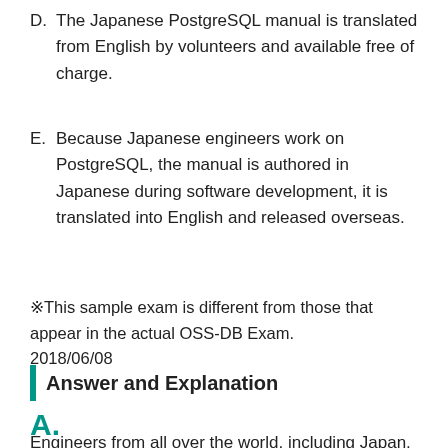D. The Japanese PostgreSQL manual is translated from English by volunteers and available free of charge.
E. Because Japanese engineers work on PostgreSQL, the manual is authored in Japanese during software development, it is translated into English and released overseas.
※This sample exam is different from those that appear in the actual OSS-DB Exam. 2018/06/08
Answer and Explanation
A.
Engineers from all over the world, including Japan,